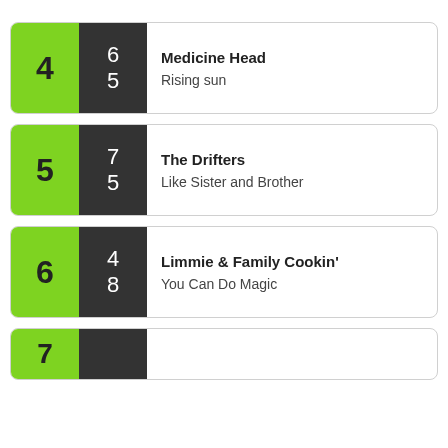4 | 6 / 5 | Medicine Head — Rising sun
5 | 7 / 5 | The Drifters — Like Sister and Brother
6 | 4 / 8 | Limmie & Family Cookin' — You Can Do Magic
7 | ... (partial)